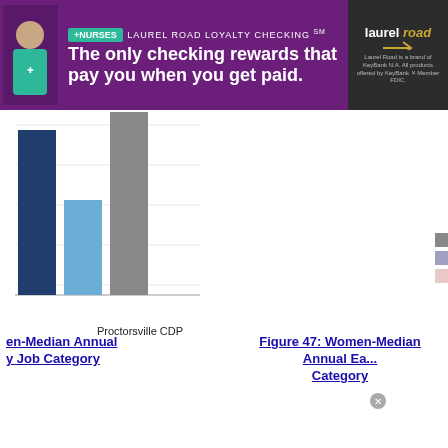[Figure (other): Laurel Road Loyalty Checking advertisement banner — purple background with nurse image, text: '+NURSES LAUREL ROAD LOYALTY CHECKING SM — The only checking rewards that pay you when you get paid.' Laurel Road logo on right.]
[Figure (grouped-bar-chart): Earnings by Job Category — Proctorsville CDP]
Proctorsville CDP
en-Median Annual
y Job Category
Figure 47: Women-Median Annual Ea...
Category
[Figure (other): BELK advertisement — 'Denim all day. www.belk.com' with navigation arrow button]